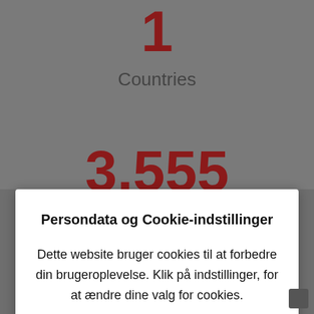1
Countries
[Figure (screenshot): Partially visible large red number behind cookie consent modal]
Persondata og Cookie-indstillinger
Dette website bruger cookies til at forbedre din brugeroplevelse. Klik på indstillinger, for at ændre dine valg for cookies.
Indstillinger
Acceptér alle cookies